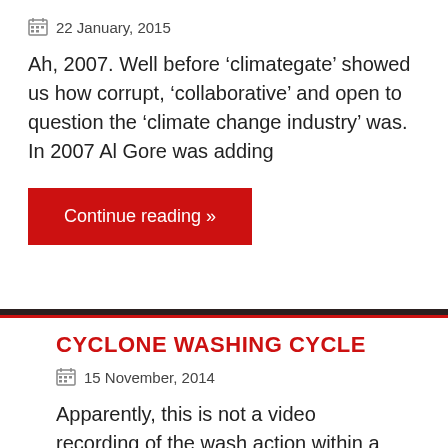22 January, 2015
Ah, 2007. Well before ‘climategate’ showed us how corrupt, ‘collaborative’ and open to question the ‘climate change industry’ was. In 2007 Al Gore was adding
Continue reading »
CYCLONE WASHING CYCLE
15 November, 2014
Apparently, this is not a video recording of the wash action within a turbo super squishy washing machine. However, it would certainly